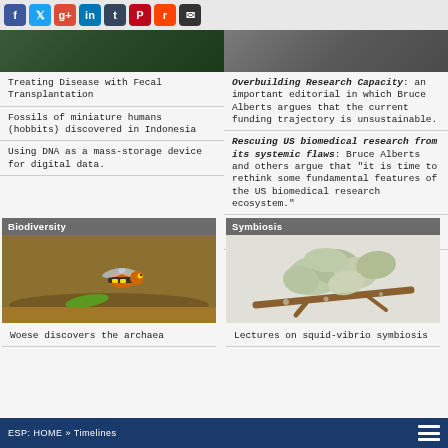Social share icons: Facebook, Twitter, Google+, LinkedIn, Tumblr, Pinterest, Reddit, Email
[Figure (photo): Dark green nature/biology related photo (top left)]
[Figure (photo): Gray/research lab related photo (top right)]
Treating Disease with Fecal Transplantation
Fossils of miniature humans (hobbits) discovered in Indonesia
Using DNA as a mass-storage device for digital data.
Overbuilding Research Capacity: an important editorial in which Bruce Alberts argues that the current funding trajectory is unsustainable.
Rescuing US biomedical research from its systemic flaws: Bruce Alberts and others argue that "it is time to rethink some fundamental features of the US biomedical research ecosystem."
Gates Foundation research can't be published in top journals
Biodiversity
[Figure (photo): Photo of a wasp/bee on sandy ground with green prey - biodiversity image]
Woese discovers the archaea
Symbiosis
[Figure (photo): Photo of lichen on a branch - symbiosis image]
Lectures on squid-vibrio symbiosis
ESP: HOME » Timelines